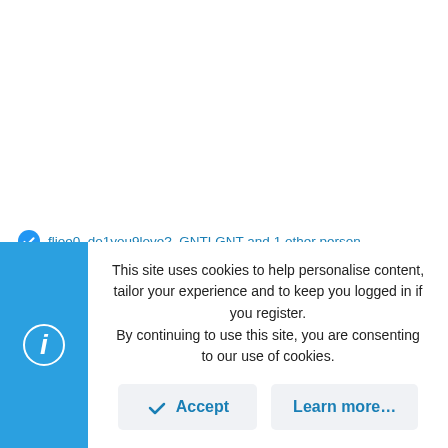fljoe0, do1you9love?, GNTLGNT and 1 other person
[Figure (logo): Miami Heat basketball team logo - circular dark red badge with team logo]
fljoe0
Cantre Member
This site uses cookies to help personalise content, tailor your experience and to keep you logged in if you register. By continuing to use this site, you are consenting to our use of cookies.
Accept
Learn more...